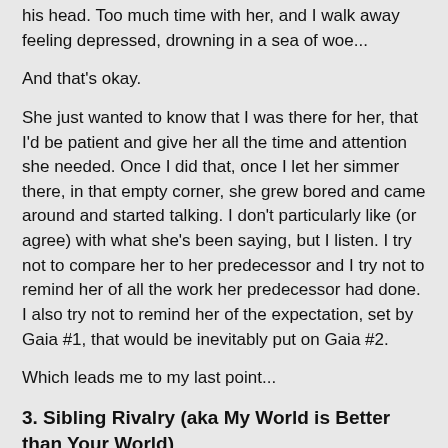his head. Too much time with her, and I walk away feeling depressed, drowning in a sea of woe...
And that's okay.
She just wanted to know that I was there for her, that I'd be patient and give her all the time and attention she needed. Once I did that, once I let her simmer there, in that empty corner, she grew bored and came around and started talking. I don't particularly like (or agree) with what she's been saying, but I listen. I try not to compare her to her predecessor and I try not to remind her of all the work her predecessor had done. I also try not to remind her of the expectation, set by Gaia #1, that would be inevitably put on Gaia #2.
Which leads me to my last point...
3. Sibling Rivalry (aka My World is Better than Your World)
It exists. Stay out of it. Make sure each has your constant